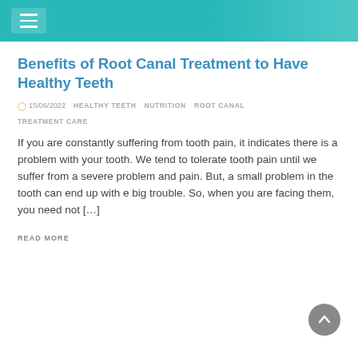Benefits of Root Canal Treatment to Have Healthy Teeth
15/06/2022   HEALTHY TEETH   NUTRITION   ROOT CANAL   TREATMENT CARE
If you are constantly suffering from tooth pain, it indicates there is a problem with your tooth. We tend to tolerate tooth pain until we suffer from a severe problem and pain. But, a small problem in the tooth can end up with e big trouble. So, when you are facing them, you need not […]
READ MORE